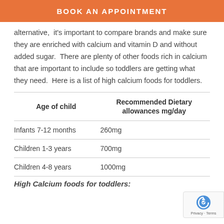BOOK AN APPOINTMENT
alternative,  it's important to compare brands and make sure they are enriched with calcium and vitamin D and without added sugar.  There are plenty of other foods rich in calcium that are important to include so toddlers are getting what they need.  Here is a list of high calcium foods for toddlers.
| Age of child | Recommended Dietary allowances mg/day |
| --- | --- |
| Infants 7-12 months | 260mg |
| Children 1-3 years | 700mg |
| Children 4-8 years | 1000mg |
High Calcium foods for toddlers: